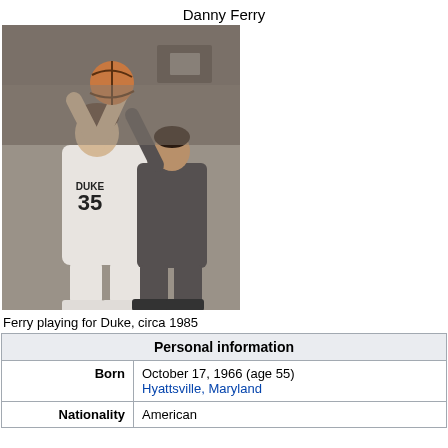Danny Ferry
[Figure (photo): Black and white photo of Danny Ferry playing basketball for Duke, wearing jersey number 35, holding ball overhead with a defender guarding him, circa 1985]
Ferry playing for Duke, circa 1985
| Personal information |
| --- |
| Born | October 17, 1966 (age 55)
Hyattsville, Maryland |
| Nationality | American |